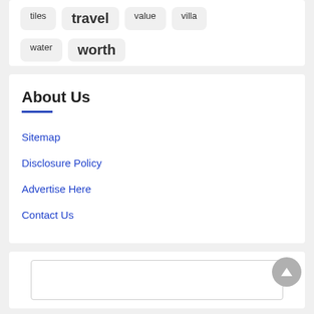tiles
travel
value
villa
water
worth
About Us
Sitemap
Disclosure Policy
Advertise Here
Contact Us